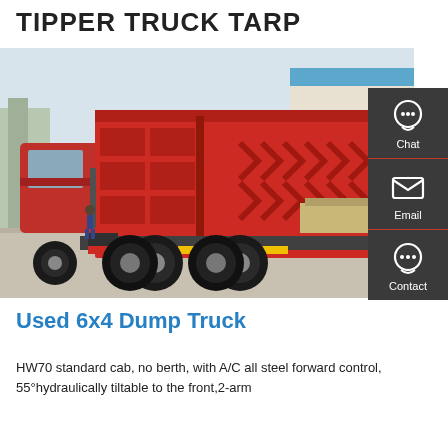TIPPER TRUCK TARP
[Figure (photo): A red 6x4 dump/tipper truck parked in an industrial yard, viewed from the rear-left quarter. The truck has a large red dump body with geometric embossed patterns. Visible are six large wheels, a yellow/red reflective rear bumper, and a building with blue roof in the background.]
Used 6x4 Dump Truck
HW70 standard cab, no berth, with A/C all steel forward control, 55°hydraulically tiltable to the front,2-arm